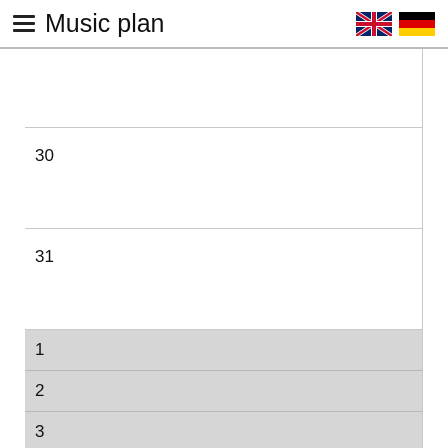Music plan
|  |  |
| 30 |  |
| 31 |  |
| 1 |  |
| 2 |  |
| 3 |  |